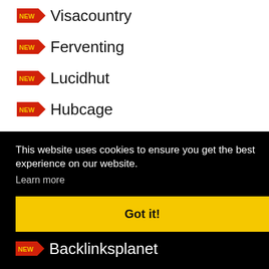Visacountry
Ferventing
Lucidhut
Hubcage
Shutkey
Linksbeat
Mbacklinks
This website uses cookies to ensure you get the best experience on our website.
Learn more
Got it!
Backlinksplanet